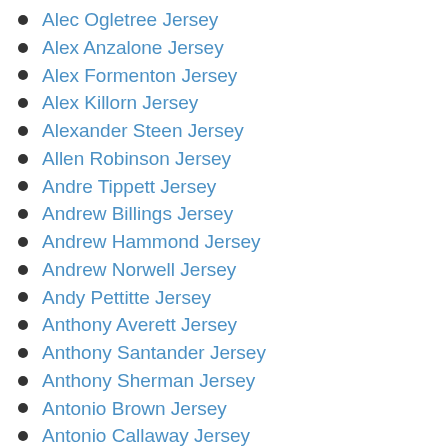Alec Ogletree Jersey
Alex Anzalone Jersey
Alex Formenton Jersey
Alex Killorn Jersey
Alexander Steen Jersey
Allen Robinson Jersey
Andre Tippett Jersey
Andrew Billings Jersey
Andrew Hammond Jersey
Andrew Norwell Jersey
Andy Pettitte Jersey
Anthony Averett Jersey
Anthony Santander Jersey
Anthony Sherman Jersey
Antonio Brown Jersey
Antonio Callaway Jersey
Arik Armstead Jersey
Austin Rivers Jersey
Avery Bradley Jersey
B.J. Goodson Jersey